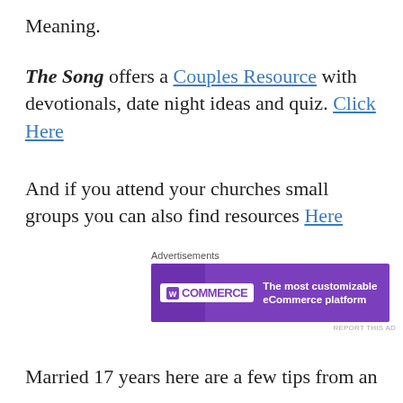Meaning.
The Song offers a Couples Resource with devotionals, date night ideas and quiz. Click Here
And if you attend your churches small groups you can also find resources Here
[Figure (other): WooCommerce advertisement banner with purple background. Logo on left reads 'WOO COMMERCE', text on right reads 'The most customizable eCommerce platform'. Label 'Advertisements' above banner. 'REPORT THIS AD' text below.]
Married 17 years here are a few tips from an